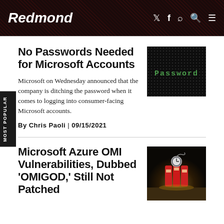Redmond
No Passwords Needed for Microsoft Accounts
Microsoft on Wednesday announced that the company is ditching the password when it comes to logging into consumer-facing Microsoft accounts.
By Chris Paoli | 09/15/2021
[Figure (photo): Dark background with the word 'Password' displayed in dot-matrix green text style]
Microsoft Azure OMI Vulnerabilities, Dubbed 'OMIGOD,' Still Not Patched
[Figure (photo): Dynamite sticks with a clock/timer attached, on a wooden surface with smoky background]